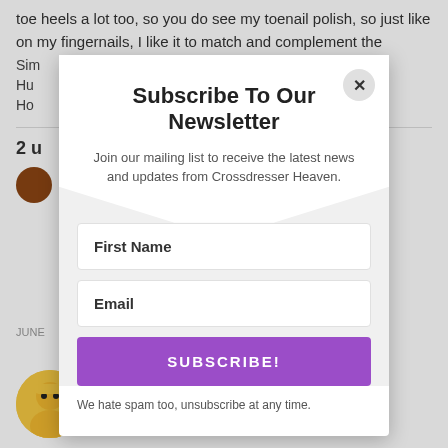toe heels a lot too, so you do see my toenail polish, so just like on my fingernails, I like it to match and complement the
Sim
Hu
Ho
2 u
Subscribe To Our Newsletter
Join our mailing list to receive the latest news and updates from Crossdresser Heaven.
First Name
Email
SUBSCRIBE!
We hate spam too, unsubscribe at any time.
JUNE